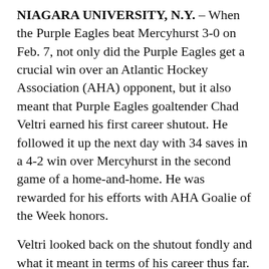NIAGARA UNIVERSITY, N.Y. – When the Purple Eagles beat Mercyhurst 3-0 on Feb. 7, not only did the Purple Eagles get a crucial win over an Atlantic Hockey Association (AHA) opponent, but it also meant that Purple Eagles goaltender Chad Veltri earned his first career shutout. He followed it up the next day with 34 saves in a 4-2 win over Mercyhurst in the second game of a home-and-home. He was rewarded for his efforts with AHA Goalie of the Week honors.
Veltri looked back on the shutout fondly and what it meant in terms of his career thus far.
“It was something special,” Veltri said. “It was something you want to get from the beginning but it’s a pretty hard achievement [to earn]. It’s nice to get that off my back and get the first one.”
Similar to head coach Jason Lammers, Veltri spent